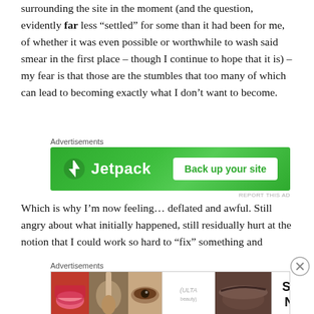surrounding the site in the moment (and the question, evidently far less “settled” for some than it had been for me, of whether it was even possible or worthwhile to wash said smear in the first place – though I continue to hope that it is) – my fear is that those are the stumbles that too many of which can lead to becoming exactly what I don’t want to become.
[Figure (other): Jetpack advertisement banner with green background showing Jetpack logo and 'Back up your site' button]
Which is why I’m now feeling… deflated and awful. Still angry about what initially happened, still residually hurt at the notion that I could work so hard to “fix” something and
[Figure (other): ULTA beauty advertisement banner showing makeup photos and 'SHOP NOW' text]